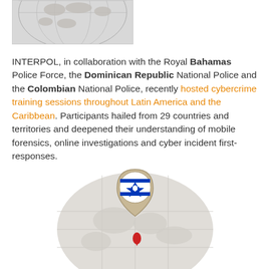[Figure (map): Partial globe/map image at top of page showing world map in grayscale]
INTERPOL, in collaboration with the Royal Bahamas Police Force, the Dominican Republic National Police and the Colombian National Police, recently hosted cybercrime training sessions throughout Latin America and the Caribbean. Participants hailed from 29 countries and territories and deepened their understanding of mobile forensics, online investigations and cyber incident first-responses.
[Figure (map): Map pin illustration showing Israel flag icon over a globe map showing Middle East region, with a red marker for Israel's location]